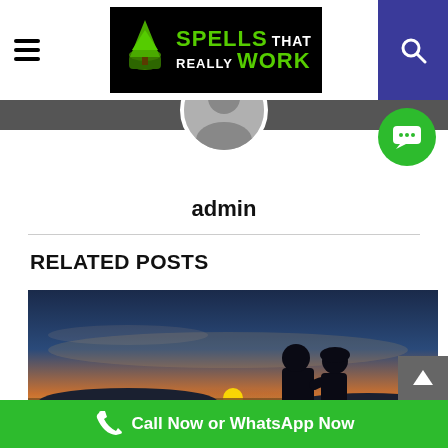Spells That Really Work — admin — navigation header
[Figure (screenshot): Circular avatar placeholder (silhouette of a person, grey background)]
admin
RELATED POSTS
[Figure (photo): A couple silhouetted against a sunset over water, embracing and about to kiss, with mountains in the background]
Call Now or WhatsApp Now